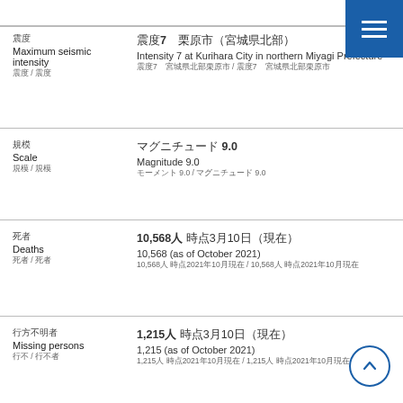Maximum seismic intensity | 震度7 栗原市（宮城県北部） | Intensity 7 at Kurihara City in northern Miyagi Prefecture | 震度7 宮城県北部栗原市 / 震度7 宮城県北部栗原市
Scale | マグニチュード 9.0 | Magnitude 9.0 | モーメント 9.0 / マグニチュード 9.0
Deaths | 10,568人 （2021年3月10日現在） | 10,568 (as of October 2021) | 10,568人 時点2021年10月現在 / 10,568人 時点2021年10月現在
Missing persons | 1,215人 （2021年3月10日現在） | 1,215 (as of October 2021) | 1,215人 時点2021年10月現在 / 1,215人 時点2021年10月現在
Peak extent of evacuations | 避難所 1,323か所 避難者 320,885人 （2011年3月3日現在） | Number of evacuation centers: 1,323. | Number of residents at evacuation centers: 320,885 (March...